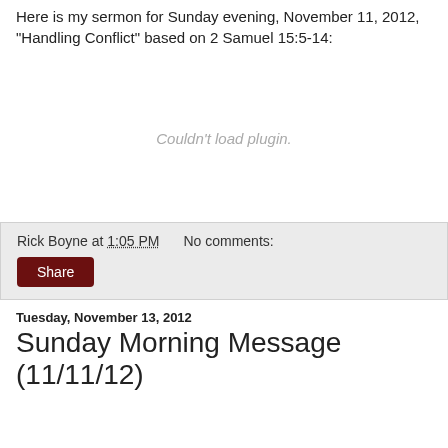Here is my sermon for Sunday evening, November 11, 2012, "Handling Conflict" based on 2 Samuel 15:5-14:
[Figure (other): Embedded plugin area showing 'Couldn't load plugin.' error message]
Rick Boyne at 1:05 PM   No comments:
Share
Tuesday, November 13, 2012
Sunday Morning Message (11/11/12)